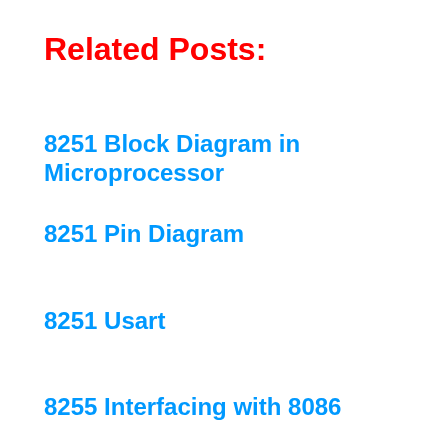Related Posts:
8251 Block Diagram in Microprocessor
8251 Pin Diagram
8251 Usart
8255 Interfacing with 8086
8255 Pin Diagram